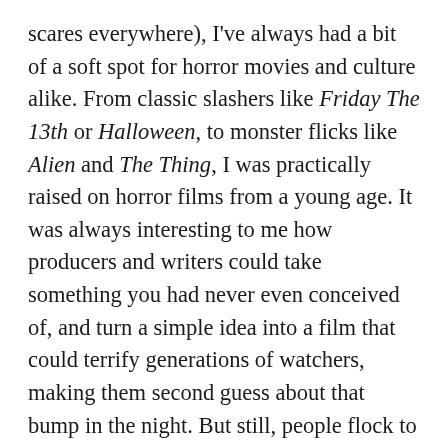scares everywhere), I've always had a bit of a soft spot for horror movies and culture alike. From classic slashers like Friday The 13th or Halloween, to monster flicks like Alien and The Thing, I was practically raised on horror films from a young age. It was always interesting to me how producers and writers could take something you had never even conceived of, and turn a simple idea into a film that could terrify generations of watchers, making them second guess about that bump in the night. But still, people flock to theaters in the millions to bear witness to the horrors of the big screen, testing their hearts and fraying their nerves each and every time. There's just something oh-so-satisfying about that rhythmic thumping as your heart tries to escape while you command yourself to stay seated